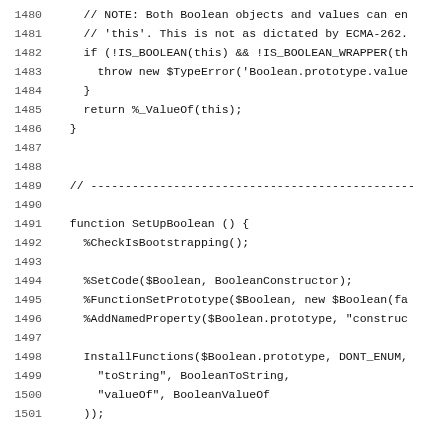1480    // NOTE: Both Boolean objects and values can en
1481    // 'this'. This is not as dictated by ECMA-262.
1482    if (!IS_BOOLEAN(this) && !IS_BOOLEAN_WRAPPER(th
1483      throw new $TypeError('Boolean.prototype.value
1484    }
1485    return %_ValueOf(this);
1486  }
1487
1488
1489  // -------------------------------------------
1490
1491  function SetUpBoolean () {
1492    %CheckIsBootstrapping();
1493
1494    %SetCode($Boolean, BooleanConstructor);
1495    %FunctionSetPrototype($Boolean, new $Boolean(fa
1496    %AddNamedProperty($Boolean.prototype, "construc
1497
1498    InstallFunctions($Boolean.prototype, DONT_ENUM,
1499      "toString", BooleanToString,
1500      "valueOf", BooleanValueOf
1501    ));